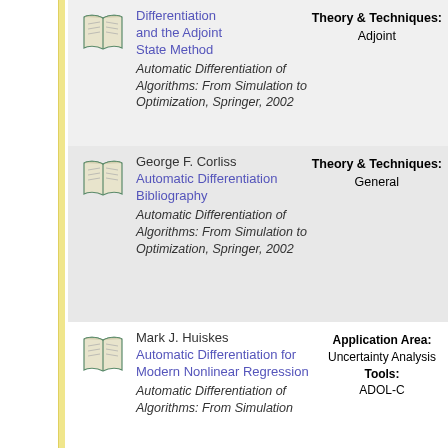Differentiation and the Adjoint State Method — Automatic Differentiation of Algorithms: From Simulation to Optimization, Springer, 2002 — Theory & Techniques: Adjoint
George F. Corliss — Automatic Differentiation Bibliography — Automatic Differentiation of Algorithms: From Simulation to Optimization, Springer, 2002 — Theory & Techniques: General
Mark J. Huiskes — Automatic Differentiation for Modern Nonlinear Regression — Automatic Differentiation of Algorithms: From Simulation to Optimization, Springer, 2002 — Application Area: Uncertainty Analysis — Tools: ADOL-C